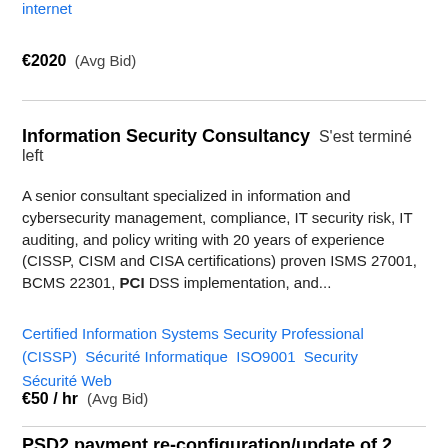internet
€2020  (Avg Bid)
Information Security Consultancy  S&#039;est terminé left
A senior consultant specialized in information and cybersecurity management, compliance, IT security risk, IT auditing, and policy writing with 20 years of experience (CISSP, CISM and CISA certifications) proven ISMS 27001, BCMS 22301, PCI DSS implementation, and...
Certified Information Systems Security Professional (CISSP)  Sécurité Informatique  ISO9001  Security  Sécurité Web
€50 / hr  (Avg Bid)
PSD2 payment re-configuration/update of 2